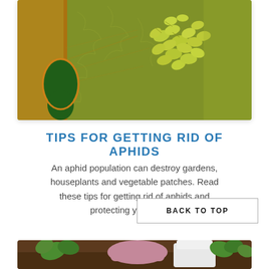[Figure (photo): Close-up macro photograph of aphids (small yellow-green insects) clustered on a damaged green leaf with holes and visible leaf veins]
TIPS FOR GETTING RID OF APHIDS
An aphid population can destroy gardens, houseplants and vegetable patches. Read these tips for getting rid of aphids and protecting your plants.
[Figure (photo): Partial view of hands working in garden soil with small plants, bottom of page]